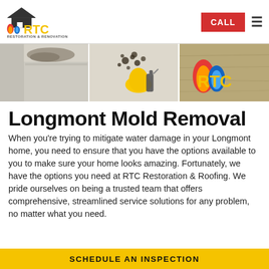RTC Restoration & Renovation | CALL
[Figure (photo): Three photos: water-damaged ceiling corner, person in protective gear cleaning mold, RTC company logo sign]
Longmont Mold Removal
When you're trying to mitigate water damage in your Longmont home, you need to ensure that you have the options available to you to make sure your home looks amazing. Fortunately, we have the options you need at RTC Restoration & Roofing. We pride ourselves on being a trusted team that offers comprehensive, streamlined service solutions for any problem, no matter what you need.
SCHEDULE AN INSPECTION